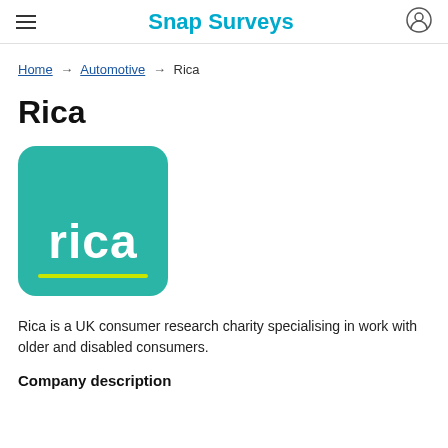Snap Surveys
Home → Automotive → Rica
Rica
[Figure (logo): Rica logo: teal/green rounded square with white bold text 'rica' and a yellow-green underline bar]
Rica is a UK consumer research charity specialising in work with older and disabled consumers.
Company description